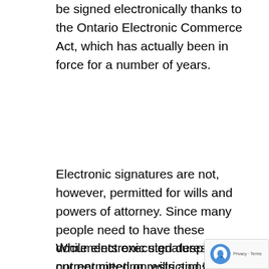be signed electronically thanks to the Ontario Electronic Commerce Act, which has actually been in force for a number of years.
Electronic signatures are not, however, permitted for wills and powers of attorney. Since many people need to have these documents executed despite the current meeting restrictions, the Ontario government has recently made a temporary change to the legal requirements for the signing of wills and powers of attorney (POAs).
While electronic signatures are still not permitted on wills and POAs, the strict